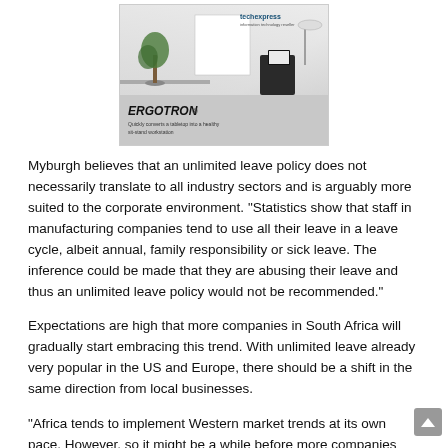[Figure (photo): Ergotron advertisement showing a sit-stand workstation with a monitor, tree, and office environment. Techexpress logo in top right. Brand name ERGOTRON with tagline 'Quickly converts a tabletop into a healthy sit-stand workstation'.]
Myburgh believes that an unlimited leave policy does not necessarily translate to all industry sectors and is arguably more suited to the corporate environment. “Statistics show that staff in manufacturing companies tend to use all their leave in a leave cycle, albeit annual, family responsibility or sick leave. The inference could be made that they are abusing their leave and thus an unlimited leave policy would not be recommended.”
Expectations are high that more companies in South Africa will gradually start embracing this trend. With unlimited leave already very popular in the US and Europe, there should be a shift in the same direction from local businesses.
“Africa tends to implement Western market trends at its own pace. However, so it might be a while before more companies embrace this as a competitive advantage for employee perks. That being